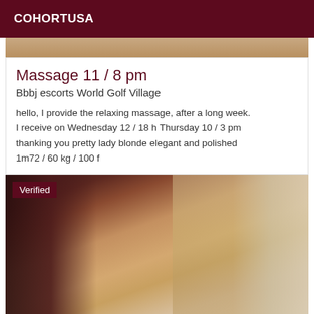COHORTUSA
[Figure (photo): Top strip of a portrait photo showing hair/top of head]
Massage 11 / 8 pm
Bbbj escorts World Golf Village
hello, I provide the relaxing massage, after a long week. I receive on Wednesday 12 / 18 h Thursday 10 / 3 pm thanking you pretty lady blonde elegant and polished 1m72 / 60 kg / 100 f
[Figure (photo): Portrait photo of a blonde woman with dark roots, looking sideways at camera. Has a Verified badge overlay in top-left corner.]